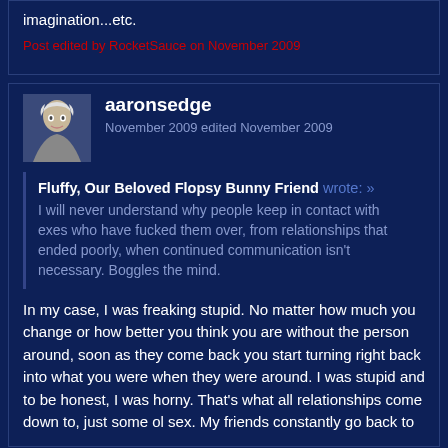imagination...etc.
Post edited by RocketSauce on November 2009
aaronsedge
November 2009 edited November 2009
Fluffy, Our Beloved Flopsy Bunny Friend wrote: » I will never understand why people keep in contact with exes who have fucked them over, from relationships that ended poorly, when continued communication isn't necessary. Boggles the mind.
In my case, I was freaking stupid. No matter how much you change or how better you think you are without the person around, soon as they come back you start turning right back into what you were when they were around. I was stupid and to be honest, I was horny. That's what all relationships come down to, just some ol sex. My friends constantly go back to